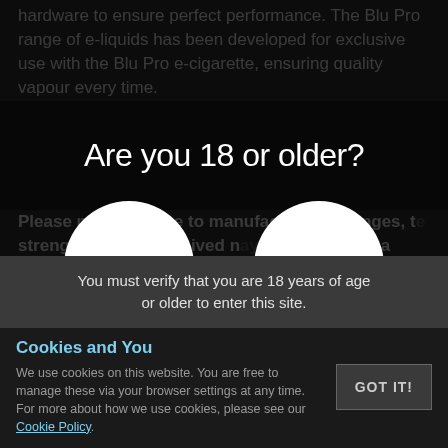hardware to ensure perfect performance. The Blu Pro range of e-liquids has been developed for exclusive use with the Blu Pro e-cigarette, ensuring quality vapour every time.
Please note that due to manufacturing changes, the strength of liquids received may vary by up to during a transitional period.
Are you 18 or older?
[Figure (other): Age verification dialog with YES and NO circular buttons]
You must verify that you are 18 years of age or older to enter this site.
Cookies and You
We use cookies on this website. You are free to manage these via your browser settings at any time. For more about how we use cookies, please see our Cookie Policy.